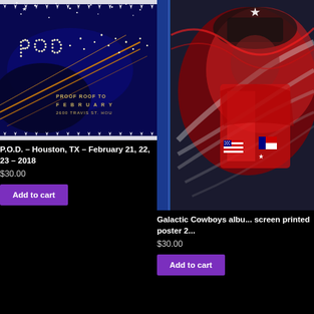[Figure (illustration): Concert poster for P.O.D. in Houston TX, dark blue background with stars forming letters and orange comet lines, text reads PROOF ROOF TO FEBRUARY 2600 TRAVIS ST HOU]
P.O.D. – Houston, TX – February 21, 22, 23 – 2018
$30.00
Add to cart
[Figure (illustration): Galactic Cowboys album screen printed poster featuring a space cowboy figure in red white and blue colors with American and Texas flags, dynamic swirling background]
Galactic Cowboys albu... screen printed poster 2...
$30.00
Add to cart